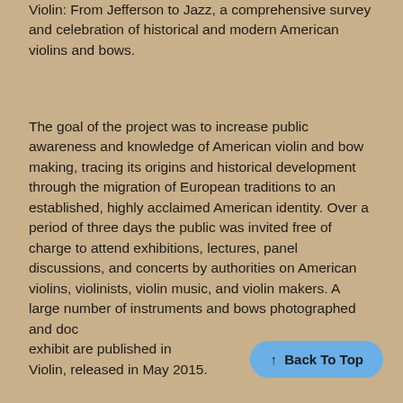Violin: From Jefferson to Jazz, a comprehensive survey and celebration of historical and modern American violins and bows.
The goal of the project was to increase public awareness and knowledge of American violin and bow making, tracing its origins and historical development through the migration of European traditions to an established, highly acclaimed American identity. Over a period of three days the public was invited free of charge to attend exhibitions, lectures, panel discussions, and concerts by authorities on American violins, violinists, violin music, and violin makers. A large number of instruments and bows photographed and documented for the exhibit are published in... Violin, released in May 2015.